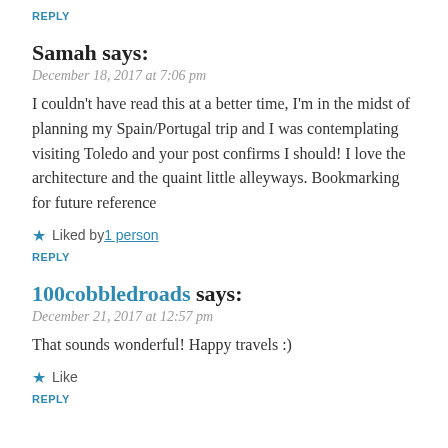REPLY
Samah says:
December 18, 2017 at 7:06 pm
I couldn't have read this at a better time, I'm in the midst of planning my Spain/Portugal trip and I was contemplating visiting Toledo and your post confirms I should! I love the architecture and the quaint little alleyways. Bookmarking for future reference
Liked by 1 person
REPLY
100cobbledroads says:
December 21, 2017 at 12:57 pm
That sounds wonderful! Happy travels :)
Like
REPLY